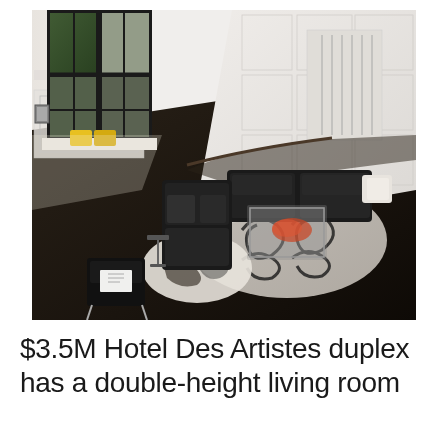[Figure (photo): Aerial/overhead view of a luxury duplex living room with double-height ceilings, large black steel-framed windows, dark hardwood floors, black sectional sofas, a patterned black and white area rug, white wainscoting walls, and a small chair with yellow cushions near the window. The photo is taken from above looking down.]
$3.5M Hotel Des Artistes duplex has a double-height living room